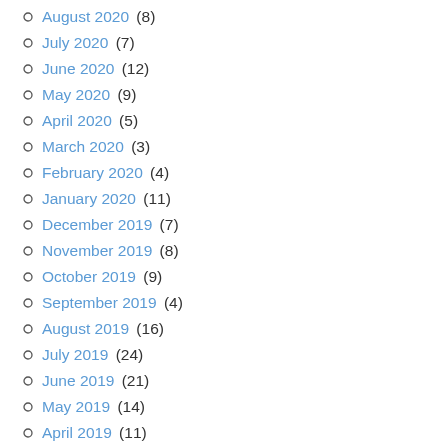August 2020 (8)
July 2020 (7)
June 2020 (12)
May 2020 (9)
April 2020 (5)
March 2020 (3)
February 2020 (4)
January 2020 (11)
December 2019 (7)
November 2019 (8)
October 2019 (9)
September 2019 (4)
August 2019 (16)
July 2019 (24)
June 2019 (21)
May 2019 (14)
April 2019 (11)